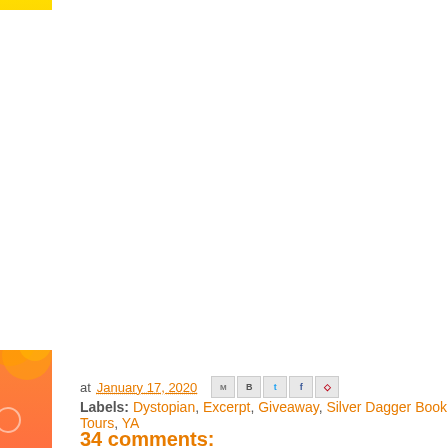[Figure (illustration): Blog header/logo image with orange gradient border frame. Contains pink cursive text 'HUGS N K...' and 'CLAI...' on white background. Left side has decorative orange/yellow sidebar with citrus swirl patterns.]
at January 17, 2020
Labels: Dystopian, Excerpt, Giveaway, Silver Dagger Book Tours, YA
34 comments: